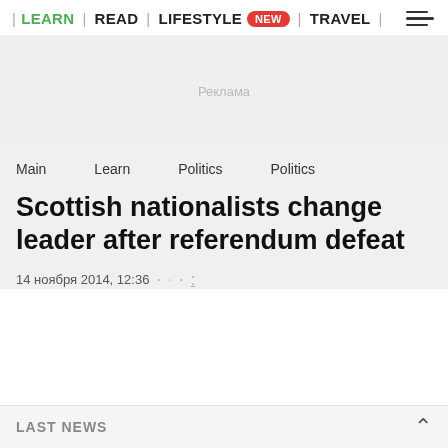| LEARN | READ | LIFESTYLE NEW | TRAVEL |
[Figure (other): Рекламa (advertisement placeholder) in a light gray box]
Main   Learn   Politics   Politics
Scottish nationalists change leader after referendum defeat
14 ноября 2014, 12:36  ·  ·  ·
LAST NEWS